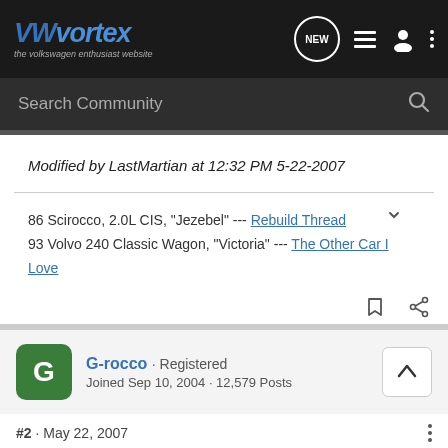VWvortex - the volkswagen enthusiast website
Search Community
Modified by LastMartian at 12:32 PM 5-22-2007
86 Scirocco, 2.0L CIS, "Jezebel" --- Rebuild Thread
93 Volvo 240 Classic Wagon, "Victoria" --- The Other Car I Love
G-rocco · Registered
Joined Sep 10, 2004 · 12,579 Posts
#2 · May 22, 2007
Wow. There are folks who pick up Scirocco's and immediately